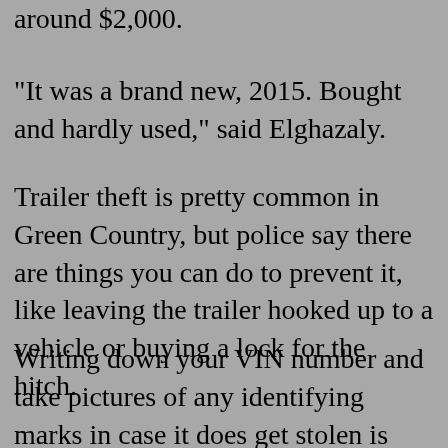around $2,000.
"It was a brand new, 2015. Bought and hardly used," said Elghazaly.
Trailer theft is pretty common in Green Country, but police say there are things you can do to prevent it, like leaving the trailer hooked up to a vehicle or buying a lock for the hitch.
Writing down your VIN number and take pictures of any identifying marks in case it does get stolen is also recommended.